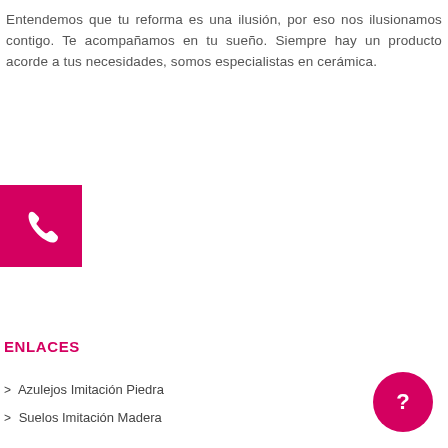Entendemos que tu reforma es una ilusión, por eso nos ilusionamos contigo. Te acompañamos en tu sueño. Siempre hay un producto acorde a tus necesidades, somos especialistas en cerámica.
[Figure (illustration): Magenta/pink square button with a white telephone handset icon]
ENLACES
> Azulejos Imitación Piedra
> Suelos Imitación Madera
[Figure (illustration): Pink/magenta circular chat bubble icon with a white question mark inside]